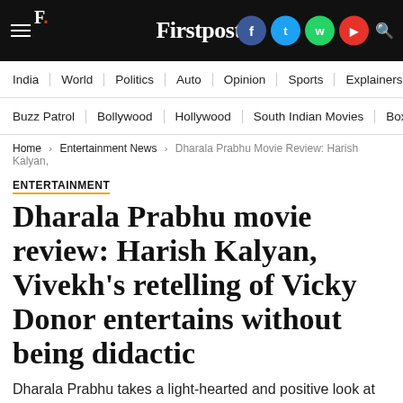Firstpost
India | World | Politics | Auto | Opinion | Sports | Explainers
Buzz Patrol | Bollywood | Hollywood | South Indian Movies | Box Office
Home > Entertainment News > Dharala Prabhu Movie Review: Harish Kalyan,
ENTERTAINMENT
Dharala Prabhu movie review: Harish Kalyan, Vivekh's retelling of Vicky Donor entertains without being didactic
Dharala Prabhu takes a light-hearted and positive look at infertility